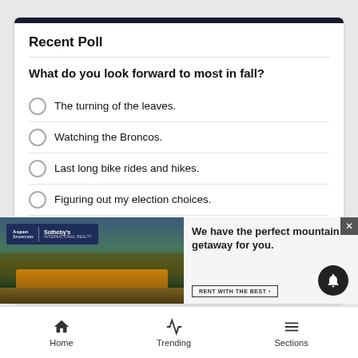Recent Poll
What do you look forward to most in fall?
The turning of the leaves.
Watching the Broncos.
Last long bike rides and hikes.
Figuring out my election choices.
R[partially obscured by ad]
[Figure (screenshot): Aspen Snowmass Sotheby's International Realty advertisement showing a luxury mountain lodge at night with text 'We have the perfect mountain getaway for you.' and a 'RENT WITH THE BEST' button]
Home  Trending  Sections